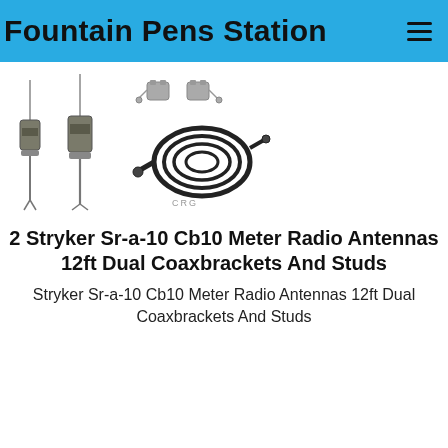Fountain Pens Station
[Figure (photo): Product photo showing two Stryker Sr-a-10 CB/10 Meter radio antennas, mounting brackets/studs hardware, a coaxial cable, and a logo mark. Items displayed on white background.]
2 Stryker Sr-a-10 Cb10 Meter Radio Antennas 12ft Dual Coaxbrackets And Studs
Stryker Sr-a-10 Cb10 Meter Radio Antennas 12ft Dual Coaxbrackets And Studs